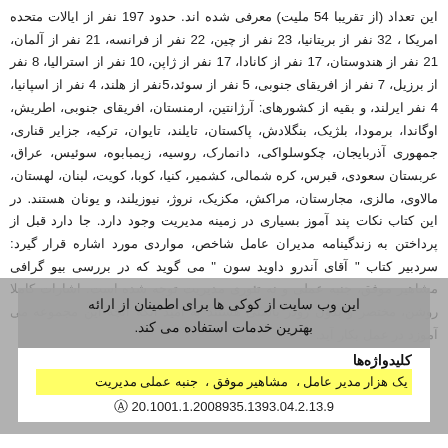این تعداد (از تقریبا 54 ملیت) معرفی شده اند. حدود 197 نفر از ایالات متحده امریکا ، 32 نفر از بریتانیا، 23 نفر از چین، 22 نفر از فرانسه، 21 نفر از آلمان، 21 نفر از هندوستان، 17 نفر از کانادا، 17 نفر از ژاپن، 10 نفر از استرالیا، 8 نفر از برزیل، 7 نفر از افریقای جنوبی، 5 نفر از سوئد،5نفر از هلند، 4 نفر از اسپانیا، 4 نفر ایرلند، و بقیه از کشورهای: آرژانتین، ارمنستان، افریقای جنوبی، اطریش، اوگاندا، برمودا، بلژیک، بنگلادش، پاکستان، تایلند، تایوان، ترکیه، جزایر قناری، جمهوری آذربایجان، چکوسلواکی، دانمارک، روسیه، زیمبابوه، سوئیس، عراق، عربستان سعودی، قبرس، کره شمالی، کشمیر، کنیا، کوبا، کویت، لبنان، لهستان، مالاوی، مالزی، مجارستان، مراکش، مکزیک، نروژ، نیوزیلند، و یونان هستند. در این کتاب نکات پند آموز بسیاری در زمینه مدیریت وجود دارد. جا دارد قبل از پرداختن به زندگینامه مدیران عامل شاخص، مواردی مورد اشاره قرار گیرد: سردبیر کتاب " آقای آندرو داوید سون " می گوید که در بررسی بیو گرافی مشاهیر موفق، جنبه عملی و نه تئوری مدیریت توجه شده است. اشارات کاملا روشن، مختصر و بدون رودر باستی هستند به امید آنکه آنچه این مجموعه می آموزد در عمل بکار آید.
این وب سایت از کوکی ها برای اطمینان از ارائه بهترین خدمات استفاده می کند.
کلیدواژه‌ها
یک هزار مدیر عامل ، مشاهیر موفق ، جنبه عملی مدیریت
20.1001.1.2008935.1393.04.2.13.9